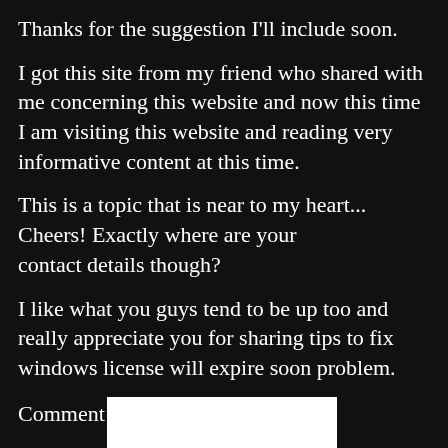Thanks for the suggestion I'll include soon.
I got this site from my friend who shared with me concerning this website and now this time I am visiting this website and reading very informative content at this time.
This is a topic that is near to my heart... Cheers! Exactly where are your contact details though?
I like what you guys tend to be up too and really appreciate you for sharing tips to fix windows license will expire soon problem.
Comment [textarea input]
[checkbox] Save my name, email, and website in this browser for the next time I comment.